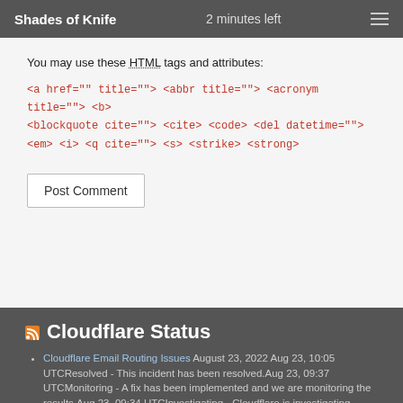Shades of Knife  2 minutes left
You may use these HTML tags and attributes: <a href="" title=""> <abbr title=""> <acronym title=""> <b> <blockquote cite=""> <cite> <code> <del datetime=""> <em> <i> <q cite=""> <s> <strike> <strong>
Post Comment
Cloudflare Status
Cloudflare Email Routing Issues August 23, 2022 Aug 23, 10:05 UTCResolved - This incident has been resolved.Aug 23, 09:37 UTCMonitoring - A fix has been implemented and we are monitoring the results.Aug 23, 09:34 UTCInvestigating - Cloudflare is investigating issues with Email Routing product. Some emails might be temporarily bounced back to the sender. Impact is restricted to email forwarding functionality and [...]